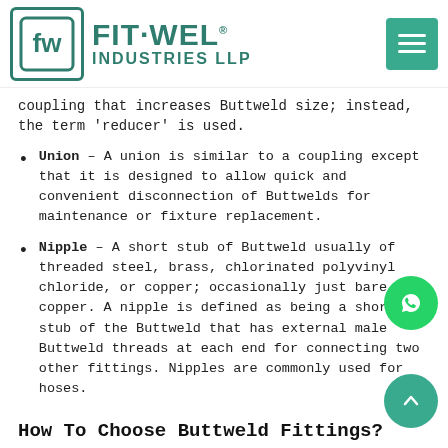[Figure (logo): Fit-Wel Industries LLP logo with teal/green brand colors and menu hamburger button]
coupling that increases Buttweld size; instead, the term 'reducer' is used.
Union – A union is similar to a coupling except that it is designed to allow quick and convenient disconnection of Buttwelds for maintenance or fixture replacement.
Nipple – A short stub of Buttweld usually of threaded steel, brass, chlorinated polyvinyl chloride, or copper; occasionally just bare copper. A nipple is defined as being a short stub of the Buttweld that has external male Buttweld threads at each end for connecting two other fittings. Nipples are commonly used for hoses.
How To Choose Buttweld Fittings?